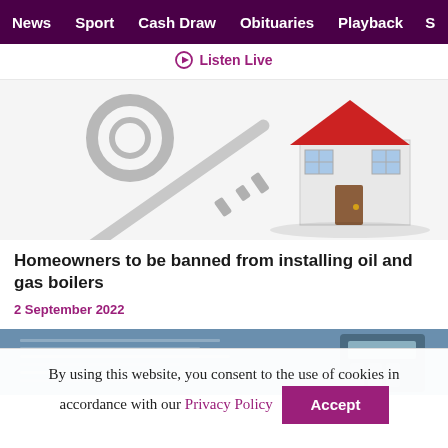News | Sport | Cash Draw | Obituaries | Playback | S
Listen Live
[Figure (photo): A large metal key with a small model house attached, on a white background]
Homeowners to be banned from installing oil and gas boilers
2 September 2022
[Figure (photo): Close-up of what appears to be a financial document or spreadsheet with a calculator, blue tinted]
By using this website, you consent to the use of cookies in accordance with our Privacy Policy Accept